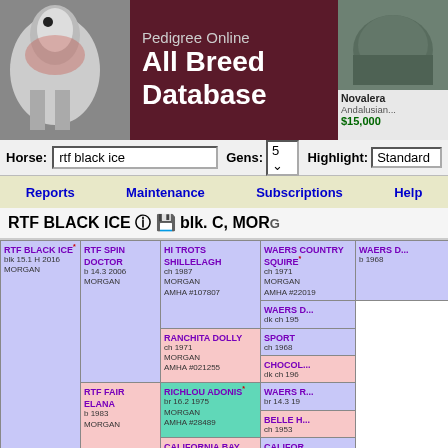Pedigree Online All Breed Database
Horse: rtf black ice  Gens: 5  Highlight: Standard
Reports  Maintenance  Subscriptions  Help
RTF BLACK ICE blk. C, MORGAN
| Gen1 | Gen2 | Gen3 | Gen4 | Gen5 |
| --- | --- | --- | --- | --- |
| RTF BLACK ICE* blk 15.1 H 2016 MORGAN | RTF SPIN DOCTOR b 14.3 2006 MORGAN | HI TROTS SHILLELAGH ch 1987 MORGAN AMHA #107807 | WAERS COUNTRY SQUIRE* ch 1971 MORGAN AMHA #22019 | WAERS ... b 1968 |
|  |  |  |  | WAERS ... dk ch 195 |
|  |  |  | RANCHITA DOLLY ch 1971 MORGAN AMHA #021255 | SPORT ch 1968 |
|  |  |  |  | CHOCOL... dk ch 196 |
|  |  | RTF FAIR ELANA b 1983 MORGAN | RICHLOU ADONIS* br 16.2 1975 MORGAN AMHA #28489 | WAERS R... br 14.3 19 |
|  |  |  |  | BELLE H... ch 1953 |
|  |  |  | CALIFORNIA BAY LADY b 1966 MORGAN AMHA #018090 | CALIFOR... ch 1959 |
|  |  |  |  | LADY GA... b 1950 |
|  | RTF WHIMSY blk A 2001 | RTF CAPTAIN COURAGEOUS b 1989 MORGAN Breeder: Richard & Hilary ... | VIKING ST CLAIR b 1985 MORGAN Bred by LaVonne Houlton. | MIDNIGH... blk 1965 |
|  |  |  |  | VIKING C... liv ch 196 |
|  |  |  | MAR MAC LADY ANGELA b 1982 MORGAN Reg. No.: 084775 | TITANS R... b 1976 |
|  |  |  |  | RICHMA... b 1971 |